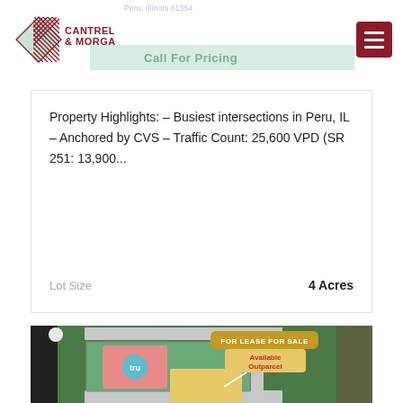[Figure (logo): Cantrell & Morgan logo with crosshatch diamond graphic and dark red text]
Call For Pricing
Property Highlights: – Busiest intersections in Peru, IL – Anchored by CVS – Traffic Count: 25,600 VPD (SR 251: 13,900...
| Lot Size | 4 Acres |
| --- | --- |
[Figure (map): Aerial map showing a retail shopping center with a pink building labeled 'tru', green parking lot areas, a yellow available outparcel area with 'Available Outparcel' callout label in red, and a golden banner reading 'FOR LEASE FOR SALE']